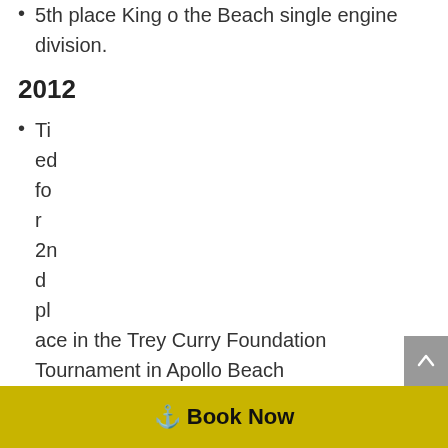5th place King o the Beach single engine division.
2012
Tied for 2nd place in the Trey Curry Foundation Tournament in Apollo Beach
Captain Joel received a 10 consecutive years of service award at the 2014 Grand Slam Tournament